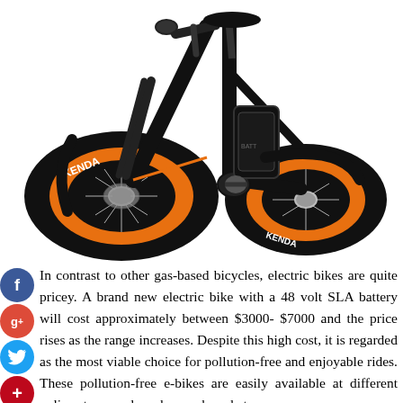[Figure (photo): Black electric fat-tire bicycle with orange rims and Kenda tires, shown from the side against a white background.]
In contrast to other gas-based bicycles, electric bikes are quite pricey. A brand new electric bike with a 48 volt SLA battery will cost approximately between $3000- $7000 and the price rises as the range increases. Despite this high cost, it is regarded as the most viable choice for pollution-free and enjoyable rides. These pollution-free e-bikes are easily available at different online stores and can be purchased at a